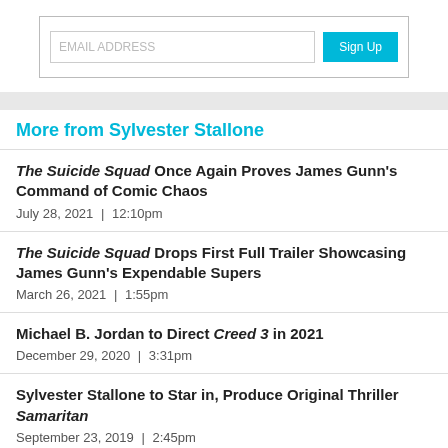[Figure (other): Email signup widget with text input and cyan/turquoise Sign Up button]
More from Sylvester Stallone
The Suicide Squad Once Again Proves James Gunn's Command of Comic Chaos — July 28, 2021  |  12:10pm
The Suicide Squad Drops First Full Trailer Showcasing James Gunn's Expendable Supers — March 26, 2021  |  1:55pm
Michael B. Jordan to Direct Creed 3 in 2021 — December 29, 2020  |  3:31pm
Sylvester Stallone to Star in, Produce Original Thriller Samaritan — September 23, 2019  |  2:45pm
Creepily Accurate Cinematic "Deepfakes" Are